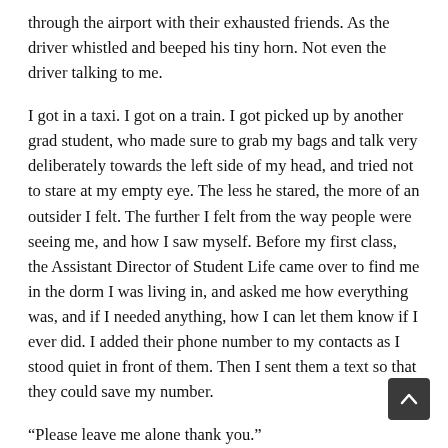through the airport with their exhausted friends. As the driver whistled and beeped his tiny horn. Not even the driver talking to me.
I got in a taxi. I got on a train. I got picked up by another grad student, who made sure to grab my bags and talk very deliberately towards the left side of my head, and tried not to stare at my empty eye. The less he stared, the more of an outsider I felt. The further I felt from the way people were seeing me, and how I saw myself. Before my first class, the Assistant Director of Student Life came over to find me in the dorm I was living in, and asked me how everything was, and if I needed anything, how I can let them know if I ever did. I added their phone number to my contacts as I stood quiet in front of them. Then I sent them a text so that they could save my number.
“Please leave me alone thank you.”
I had a...